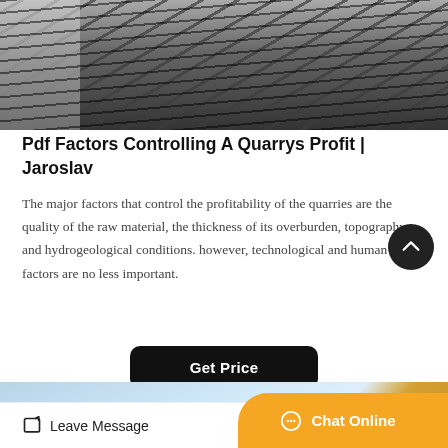[Figure (photo): Industrial quarry conveyor belt equipment with steel framing, rock debris and machinery in a dark industrial setting]
Pdf Factors Controlling A Quarrys Profit | Jaroslav
The major factors that control the profitability of the quarries are the quality of the raw material, the thickness of its overburden, topography, and hydrogeological conditions. however, technological and human factors are no less important.
[Figure (photo): Construction site with excavator arm against cloudy blue sky]
Leave Message   Chat Online